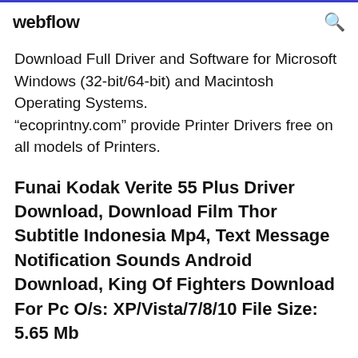webflow
Download Full Driver and Software for Microsoft Windows (32-bit/64-bit) and Macintosh Operating Systems. “ecoprintny.com” provide Printer Drivers free on all models of Printers.
Funai Kodak Verite 55 Plus Driver Download, Download Film Thor Subtitle Indonesia Mp4, Text Message Notification Sounds Android Download, King Of Fighters Download For Pc O/s: XP/Vista/7/8/10 File Size: 5.65 Mb